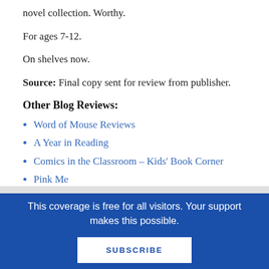novel collection. Worthy.
For ages 7-12.
On shelves now.
Source: Final copy sent for review from publisher.
Other Blog Reviews:
Word of Mouse Reviews
A Year in Reading
Comics in the Classroom – Kids' Book Corner
Pink Me
Kidpop
This coverage is free for all visitors. Your support makes this possible.
SUBSCRIBE